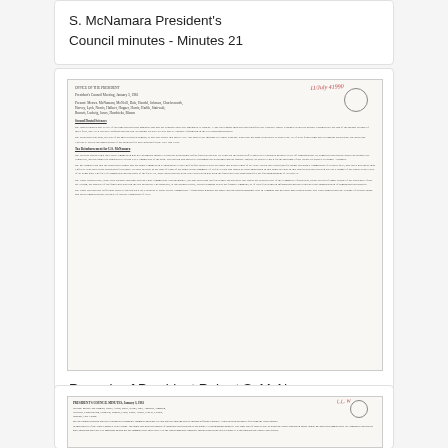S. McNamara President's Council minutes - Minutes 21
[Figure (photo): Scanned page of a government document - President's Council Meeting minutes, handwritten stamp and circular seal visible, dense typewritten text]
Records of President Robert S. McNamara President's Council minutes - Minutes 20
[Figure (photo): Partially visible scanned page of another government document - President's Council Meeting minutes with circular stamp]